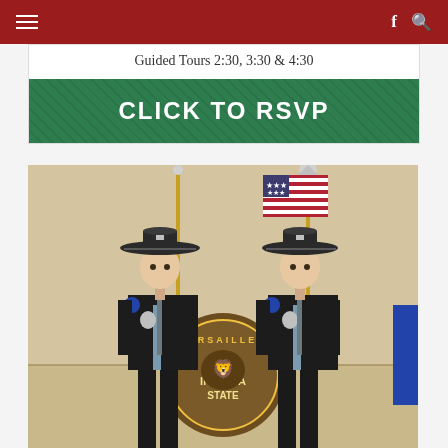Navigation bar with hamburger menu, Facebook and search icons
Guided Tours 2:30, 3:30 & 4:30
CLICK TO RSVP
[Figure (photo): Two Indiana State Police troopers in full uniform with flat-brim campaign hats standing in front of an American flag and a Versailles Indiana State Police seal/emblem on the wall]